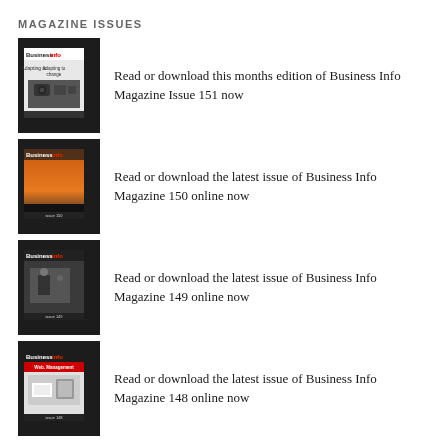MAGAZINE ISSUES
[Figure (photo): BusinessInfo Magazine Issue 151 cover – 'Adapting to change' with camera equipment image, dark background]
Read or download this months edition of Business Info Magazine Issue 151 now
[Figure (photo): BusinessInfo Magazine Issue 150 cover – orange/fire themed background with crowd silhouette]
Read or download the latest issue of Business Info Magazine 150 online now
[Figure (photo): BusinessInfo Magazine Issue 149 cover – office/people scene with dark background]
Read or download the latest issue of Business Info Magazine 149 online now
[Figure (photo): BusinessInfo Magazine Issue 148 cover – printer/office equipment themed]
Read or download the latest issue of Business Info Magazine 148 online now